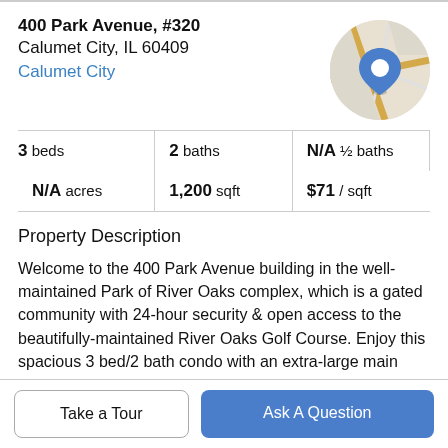400 Park Avenue, #320
Calumet City, IL 60409
Calumet City
[Figure (map): Circular map thumbnail showing street map with a blue location pin marker]
| 3 beds | 2 baths | N/A ½ baths |
| N/A acres | 1,200 sqft | $71 / sqft |
Property Description
Welcome to the 400 Park Avenue building in the well-maintained Park of River Oaks complex, which is a gated community with 24-hour security & open access to the beautifully-maintained River Oaks Golf Course. Enjoy this spacious 3 bed/2 bath condo with an extra-large main